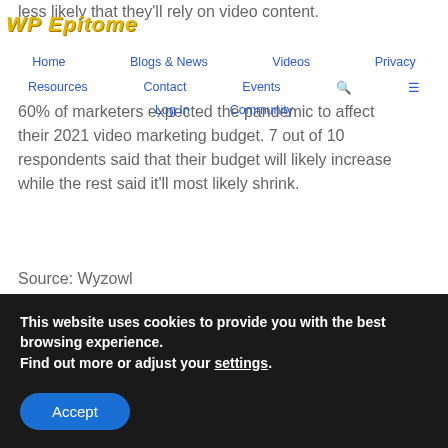WP Epitome — Home | Blogs & News | Videos | Resources | Contact | Events | Privacy | Log In | Community
less likely that they'll rely on video content.
60% of marketers expected the pandemic to affect their 2021 video marketing budget. 7 out of 10 respondents said that their budget will likely increase while the rest said it'll most likely shrink.
Source: Wyzowl
36. The pandemic made people consume more video content.
68% of consumers said that because of the pandemic, their video watching habits were affected. 96% of people stated that their viewing increased in 2020.
This website uses cookies to provide you with the best browsing experience. Find out more or adjust your settings.